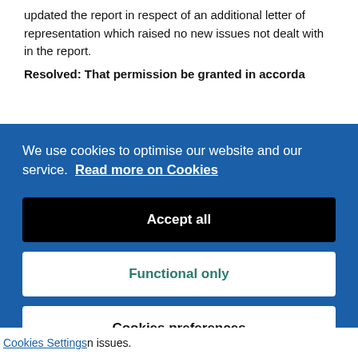The Director of Environment and Public Protection updated the report in respect of an additional letter of representation which raised no new issues not dealt with in the report.
Resolved: That permission be granted in accordance...
We use cookies to optimise our website and our service. Read more on Cookies
Accept all
Functional only
Cookies preferences
Cookies Settings n issues.